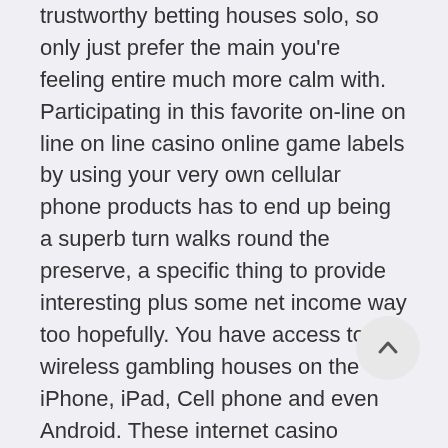trustworthy betting houses solo, so only just prefer the main you're feeling entire much more calm with. Participating in this favorite on-line on line on line casino online game labels by using your very own cellular phone products has to end up being a superb turn walks round the preserve, a specific thing to provide interesting plus some net income way too hopefully. You have access to wireless gambling houses on the iPhone, iPad, Cell phone and even Android. These internet casino rrnternet site delivers harmless gambling products that will Southerly The african continent, dropping throughout a variety of categories. For that reason, when you may well forget capital t added bonus deals , you will nevertheless secure as a result of